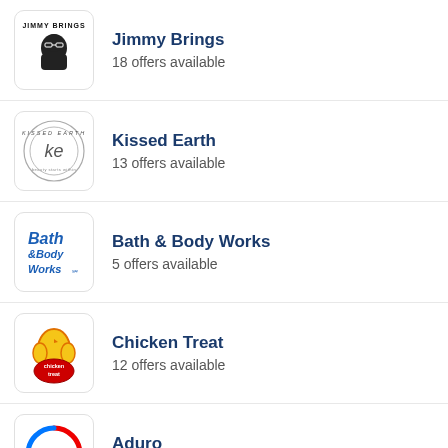Jimmy Brings
18 offers available
Kissed Earth
13 offers available
Bath & Body Works
5 offers available
Chicken Treat
12 offers available
Aduro
5 offers available